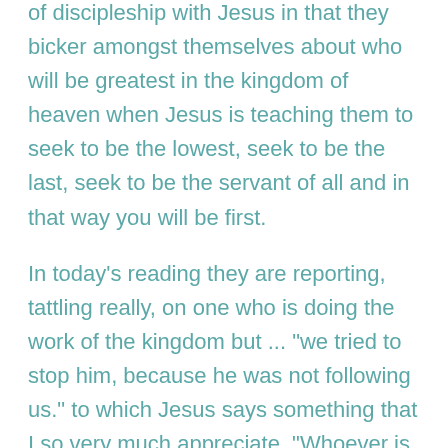of discipleship with Jesus in that they bicker amongst themselves about who will be greatest in the kingdom of heaven when Jesus is teaching them to seek to be the lowest, seek to be the last, seek to be the servant of all and in that way you will be first.
In today's reading they are reporting, tattling really, on one who is doing the work of the kingdom but ... "we tried to stop him, because he was not following us." to which Jesus says something that I so very much appreciate. "Whoever is not against us is for us."
In one fell swoop, Jesus crushes any notion of US VS. THEM.  If THEY are doing the work we are doing of loving and caring and freeing and feeding and healing, then THEY are actually US!